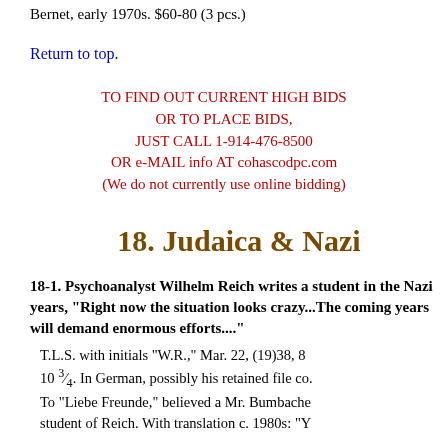Bernet, early 1970s. $60-80 (3 pcs.)
Return to top.
TO FIND OUT CURRENT HIGH BIDS OR TO PLACE BIDS, JUST CALL 1-914-476-8500 OR e-MAIL info AT cohascodpc.com (We do not currently use online bidding)
18. Judaica & Nazi
18-1. Psychoanalyst Wilhelm Reich writes a student in the Nazi years, "Right now the situation looks crazy...The coming years will demand enormous efforts...."
T.L.S. with initials "W.R.," Mar. 22, (19)38, 8 x 10 ¾. In German, possibly his retained file co. To "Liebe Freunde," believed a Mr. Bumbache student of Reich. With translation c. 1980s: "Y